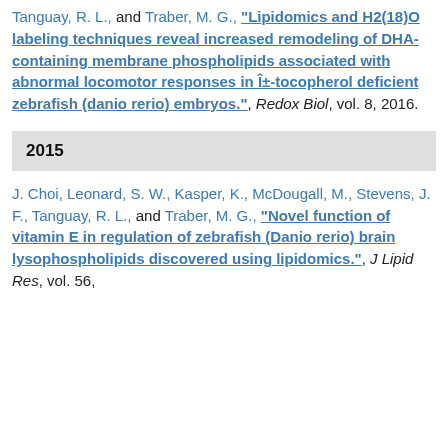Tanguay, R. L., and Traber, M. G., "Lipidomics and H2(18)O labeling techniques reveal increased remodeling of DHA-containing membrane phospholipids associated with abnormal locomotor responses in α-tocopherol deficient zebrafish (danio rerio) embryos.", Redox Biol, vol. 8, 2016.
2015
J. Choi, Leonard, S. W., Kasper, K., McDougall, M., Stevens, J. F., Tanguay, R. L., and Traber, M. G., "Novel function of vitamin E in regulation of zebrafish (Danio rerio) brain lysophospholipids discovered using lipidomics.", J Lipid Res, vol. 56,